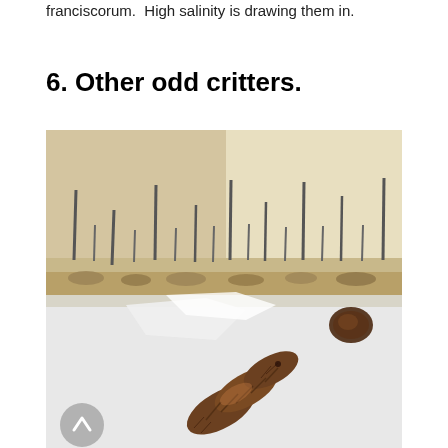franciscorum.  High salinity is drawing them in.
6. Other odd critters.
[Figure (photo): Close-up photograph of a ruler/scale bar with evenly spaced metal pins/ticks against a beige background, and a brown segmented worm-like organism (possibly a marine polychaete or larva) resting on a white surface in the foreground, with a dark brown object visible to the right.]